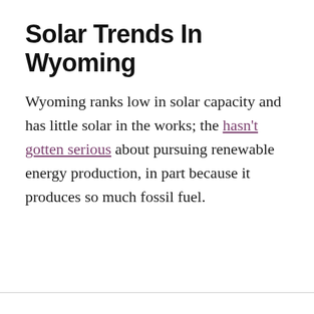Solar Trends In Wyoming
Wyoming ranks low in solar capacity and has little solar in the works; the hasn't gotten serious about pursuing renewable energy production, in part because it produces so much fossil fuel.